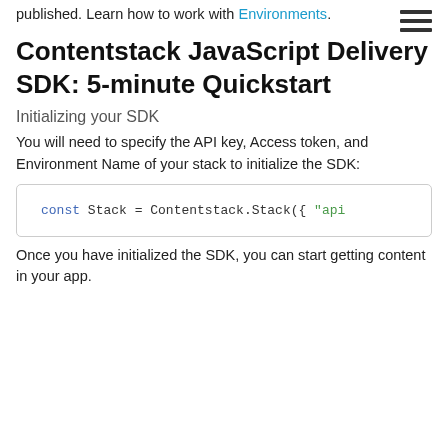destination where the changes need to be published. Learn how to work with Environments.
Contentstack JavaScript Delivery SDK: 5-minute Quickstart
Initializing your SDK
You will need to specify the API key, Access token, and Environment Name of your stack to initialize the SDK:
[Figure (screenshot): Code block showing: const Stack = Contentstack.Stack({ "api...]
Once you have initialized the SDK, you can start getting content in your app.